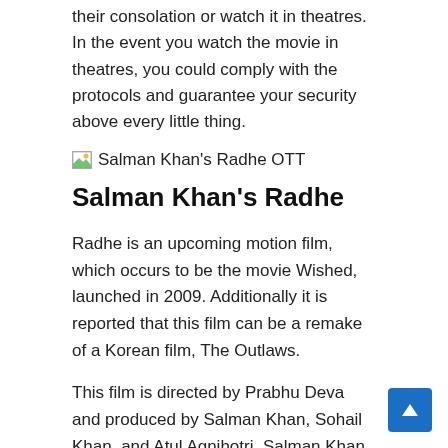their consolation or watch it in theatres. In the event you watch the movie in theatres, you could comply with the protocols and guarantee your security above every little thing.
[Figure (illustration): Broken image placeholder icon with alt text 'Salman Khan's Radhe OTT']
Salman Khan's Radhe
Radhe is an upcoming motion film, which occurs to be the movie Wished, launched in 2009. Additionally it is reported that this film can be a remake of a Korean film, The Outlaws.
This film is directed by Prabhu Deva and produced by Salman Khan, Sohail Khan, and Atul Agnihotri. Salman Khan, Disha Patani, Randeep Hooda, and Jackie Shroff will be taking part in distinguished roles in this film.